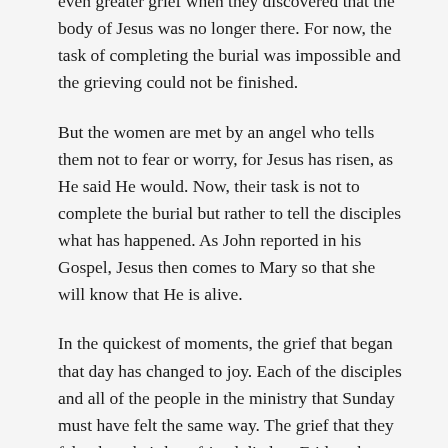even greater grief when they discovered that the body of Jesus was no longer there. For now, the task of completing the burial was impossible and the grieving could not be finished.
But the women are met by an angel who tells them not to fear or worry, for Jesus has risen, as He said He would. Now, their task is not to complete the burial but rather to tell the disciples what has happened. As John reported in his Gospel, Jesus then comes to Mary so that she will know that He is alive.
In the quickest of moments, the grief that began that day has changed to joy. Each of the disciples and all of the people in the ministry that Sunday must have felt the same way. The grief that they felt when their best friend died on Friday changes to joy and